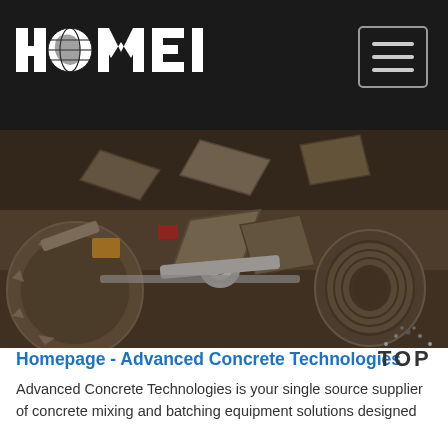HAOMEI [logo with globe]
[Figure (photo): Close-up photograph of heavy industrial concrete mixing machinery showing metal blades, augers, shafts, pulleys and mechanical components in a worn industrial setting]
[Figure (other): TOP button with dotted arc graphic in top-right corner]
Homepage - Advanced Concrete Technologies
Advanced Concrete Technologies is your single source supplier of concrete mixing and batching equipment solutions designed